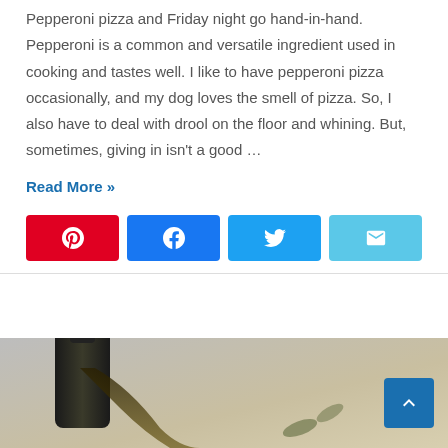Pepperoni pizza and Friday night go hand-in-hand. Pepperoni is a common and versatile ingredient used in cooking and tastes well. I like to have pepperoni pizza occasionally, and my dog loves the smell of pizza. So, I also have to deal with drool on the floor and whining. But, sometimes, giving in isn't a good …
Read More »
[Figure (infographic): Four social share buttons: Pinterest (red), Facebook (blue), Twitter (light blue), Email (cyan)]
[Figure (photo): Partial image of a dark bottle pouring liquid, with a blurred neutral background]